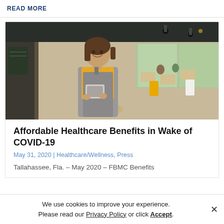READ MORE
[Figure (photo): Woman in yellow shirt and gray apron smiling and holding a tablet inside a restaurant/café setting]
Affordable Healthcare Benefits in Wake of COVID-19
May 31, 2020 | Healthcare/Wellness, Press
Tallahassee, Fla. – May 2020 – FBMC Benefits
We use cookies to improve your experience. Please read our Privacy Policy or click Accept.